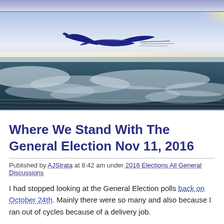[Figure (illustration): Website banner showing a blue stylized bird/aircraft logo flying above clouds and ocean, aerial view, with motion-speed lines behind the bird.]
Where We Stand With The General Election Nov 11, 2016
Published by AJStrata at 8:42 am under 2016 Elections All General Discussions
I had stopped looking at the General Election polls back on October 24th. Mainly there were so many and also because I ran out of cycles because of a delivery job.
But let's check back in and see where things stand – just a snapshot of the aver